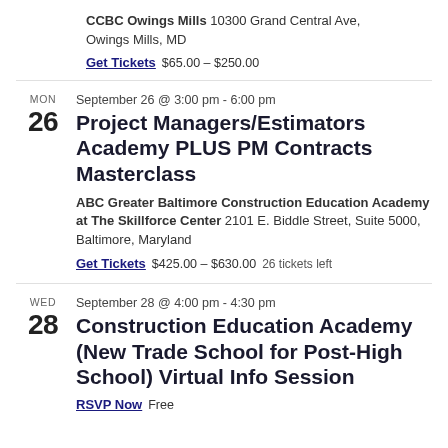CCBC Owings Mills 10300 Grand Central Ave, Owings Mills, MD
Get Tickets   $65.00 – $250.00
MON 26   September 26 @ 3:00 pm - 6:00 pm
Project Managers/Estimators Academy PLUS PM Contracts Masterclass
ABC Greater Baltimore Construction Education Academy at The Skillforce Center 2101 E. Biddle Street, Suite 5000, Baltimore, Maryland
Get Tickets   $425.00 – $630.00   26 tickets left
WED 28   September 28 @ 4:00 pm - 4:30 pm
Construction Education Academy (New Trade School for Post-High School) Virtual Info Session
RSVP Now   Free